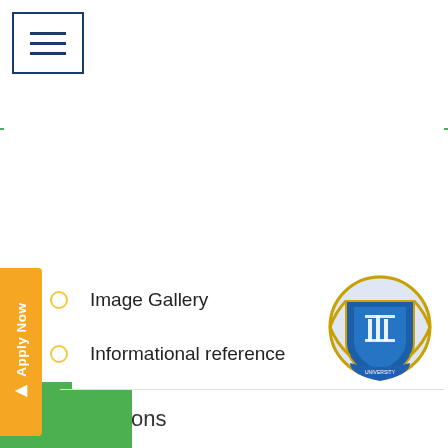[Figure (screenshot): Hamburger menu button with three horizontal lines, bordered in navy blue]
Cost of study
Departments
Directions of Researches
Expert commission
History of Univesity
Image Gallery
Informational reference
nnovations
[Figure (logo): University coat of arms/crest in blue and gold]
[Figure (infographic): Orange vertical Apply Now tab on the left side]
[Figure (infographic): Green bottom bar with arrow icon and Innovations menu item]